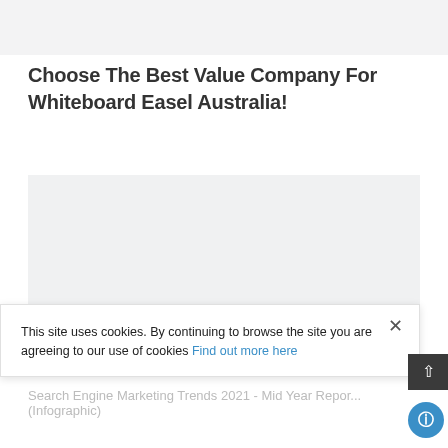[Figure (other): Top image placeholder area, light gray background]
Choose The Best Value Company For Whiteboard Easel Australia!
[Figure (other): Main content image placeholder, light gray background]
This site uses cookies. By continuing to browse the site you are agreeing to our use of cookies Find out more here
Search Engine Marketing Trends 2021 - Mid Year Report (Infographic)